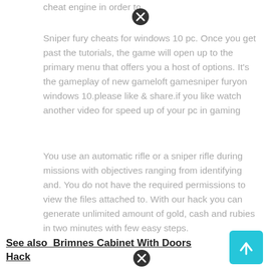cheat engine in order to
Sniper fury cheats for windows 10 pc. Once you get past the tutorials, the game will open up to the primary menu that offers you a host of options. It's the gameplay of new gameloft gamesniper furyon windows 10.please like & share.if you like watch another video for speed up of your pc in gaming
You use an automatic rifle or a sniper rifle during missions with objectives ranging from identifying and. You do not have the required permissions to view the files attached to. With our hack you can generate unlimited amount of gold, cash and rubies in two minutes with few easy steps.
See also  Brimnes Cabinet With Doors Hack